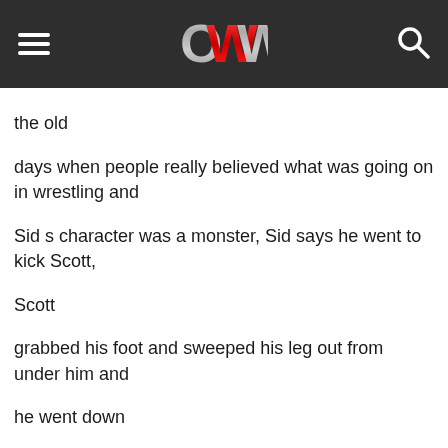OWW (header with hamburger menu, logo, and search icon)
the old days when people really believed what was going on in wrestling and Sid s character was a monster, Sid says he went to kick Scott, Scott grabbed his foot and sweeped his leg out from under him and he went down and when they got back to the dressing room Scott said he had never heard a reaction like that other than from Hulk Hogan, Sid says what it was, was the first bump of the year he had taken.

The Conversation ensues into Scott Hall as Magnum Scott Hall and Jack says he was going to ask Scott originally what the Alligator Wrestling gimmick was originally about, Sid says he doesn t think Scott